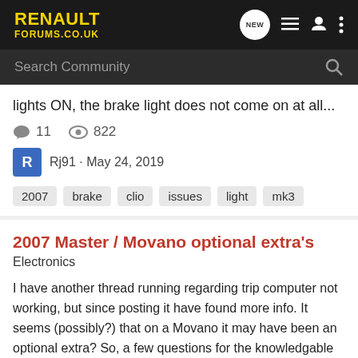Renault Forums.co.uk
Search Community
lights ON, the brake light does not come on at all...
11 comments · 822 views · Rj91 · May 24, 2019
Tags: 2007, brake, clio, issues, light, mk3
2007 Master / Movano optional extra's
Electronics
I have another thread running regarding trip computer not working, but since posting it have found more info. It seems (possibly?) that on a Movano it may have been an optional extra? So, a few questions for the knowledgable amongsyou clever folk on here. Was it an optional extra? If so, can...
7 comments · 629 views